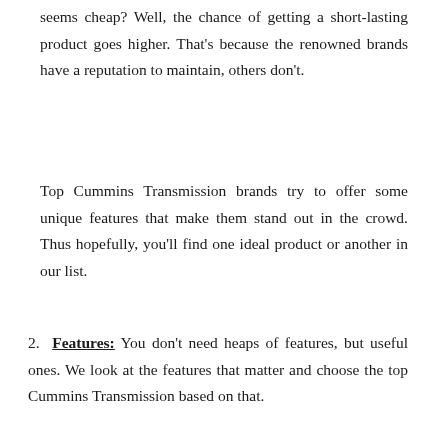seems cheap? Well, the chance of getting a short-lasting product goes higher. That's because the renowned brands have a reputation to maintain, others don't.
Top Cummins Transmission brands try to offer some unique features that make them stand out in the crowd. Thus hopefully, you'll find one ideal product or another in our list.
2. Features: You don't need heaps of features, but useful ones. We look at the features that matter and choose the top Cummins Transmission based on that.